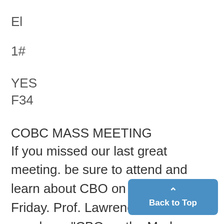El
1#
YES
F34
COBC MASS MEETING
If you missed our last great meeting. be sure to attend and learn about CBO on the Diag this Friday. Prof. Lawrence Finley will speak on: "CBO on the Modern Campus." Meet the Fishbowl at 5:00 with a bottle.